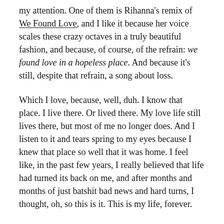my attention. One of them is Rihanna's remix of We Found Love, and I like it because her voice scales these crazy octaves in a truly beautiful fashion, and because, of course, of the refrain: we found love in a hopeless place. And because it's still, despite that refrain, a song about loss.
Which I love, because, well, duh. I know that place. I live there. Or lived there. My love life still lives there, but most of me no longer does. And I listen to it and tears spring to my eyes because I knew that place so well that it was home. I feel like, in the past few years, I really believed that life had turned its back on me, and after months and months of just batshit bad news and hard turns, I thought, oh, so this is it. This is my life, forever.
I know how that sounds. But it's what I felt, and I thought I had the evidence to back it up. Maybe I did.